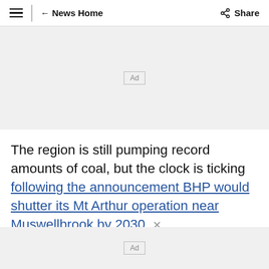≡ ← News Home  Share
[Figure (other): Advertisement placeholder box labeled 'Ad' on gray background]
The region is still pumping record amounts of coal, but the clock is ticking following the announcement BHP would shutter its Mt Arthur operation near Muswellbrook by 2030.
[Figure (other): Advertisement placeholder box labeled 'Ad' on gray background at bottom]